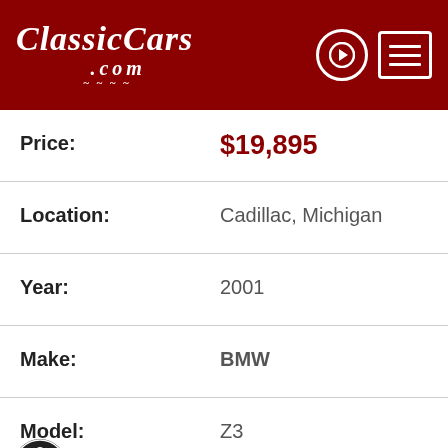ClassicCars.com
| Field | Value |
| --- | --- |
| Price: | $19,895 |
| Location: | Cadillac, Michigan |
| Year: | 2001 |
| Make: | BMW |
| Model: | Z3 |
| Exterior Color: | Atlanta Blue Metallic |